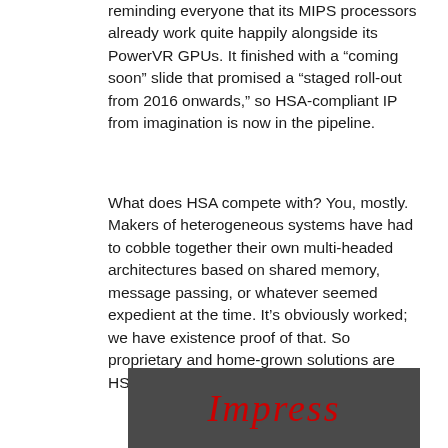reminding everyone that its MIPS processors already work quite happily alongside its PowerVR GPUs. It finished with a “coming soon” slide that promised a “staged roll-out from 2016 onwards,” so HSA-compliant IP from imagination is now in the pipeline.
What does HSA compete with? You, mostly. Makers of heterogeneous systems have had to cobble together their own multi-headed architectures based on shared memory, message passing, or whatever seemed expedient at the time. It’s obviously worked; we have existence proof of that. So proprietary and home-grown solutions are HSA’s biggest opposition.
[Figure (photo): Dark grey background image with red italic text reading 'Impress']